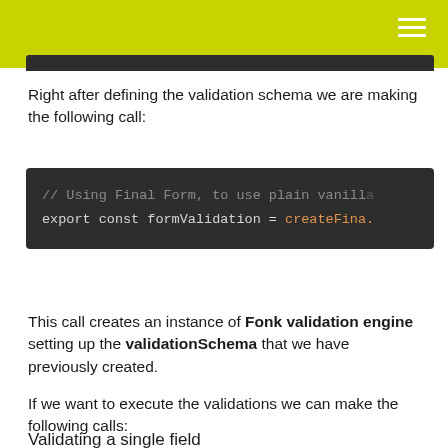[Figure (screenshot): Dark code block partially visible at top of page]
Right after defining the validation schema we are making the following call:
[Figure (screenshot): Dark code block showing: // Using Final Form, to use plain vanilla... | export const formValidation = createFina...]
This call creates an instance of Fonk validation engine setting up the validationSchema that we have previously created.
If we want to execute the validations we can make the following calls:
Validating a single field